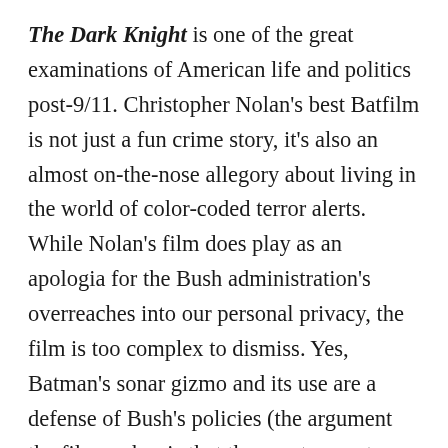The Dark Knight is one of the great examinations of American life and politics post-9/11. Christopher Nolan's best Batfilm is not just a fun crime story, it's also an almost on-the-nose allegory about living in the world of color-coded terror alerts. While Nolan's film does play as an apologia for the Bush administration's overreaches into our personal privacy, the film is too complex to dismiss. Yes, Batman's sonar gizmo and its use are a defense of Bush's policies (the argument the film makes is that these extreme steps are necessary to save lives, and that we must trust that the men making these choices are making them honorably, and not for personal gain), but the film's escalation themes also point a finger back at the US for the rise of global terrorism.